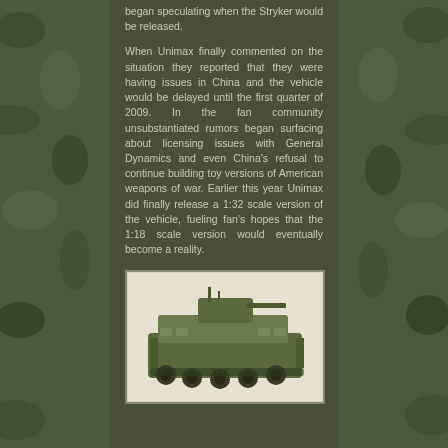began speculating when the Stryker would be released.
When Unimax finally commented on the situation they reported that they were having issues in China and the vehicle would be delayed until the first quarter of 2009. In the fan community unsubstantiated rumors began surfacing about licensing issues with General Dynamics and even China's refusal to continue building toy versions of American weapons of war. Earlier this year Unimax did finally release a 1:32 scale version of the vehicle, fueling fan's hopes that the 1:18 scale version would eventually become a reality.
[Figure (photo): A 1:32 or 1:18 scale model of a Stryker military armored vehicle, shown in olive drab/green color against a white background.]